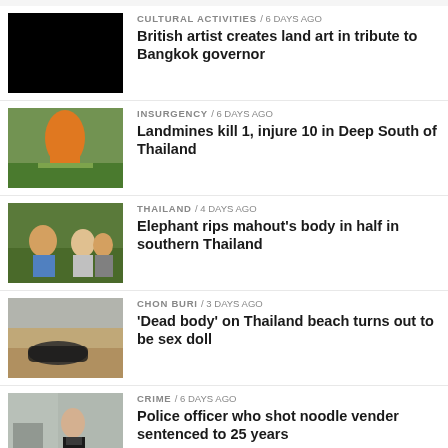[Figure (photo): Black square placeholder image]
CULTURAL ACTIVITIES / 6 days ago
British artist creates land art in tribute to Bangkok governor
[Figure (photo): Photo of a monk in orange robes near green foliage]
INSURGENCY / 6 days ago
Landmines kill 1, injure 10 in Deep South of Thailand
[Figure (photo): Photo of people in masks crouching in a ditch]
THAILAND / 4 days ago
Elephant rips mahout’s body in half in southern Thailand
[Figure (photo): Photo of a body on a beach with sandy surroundings]
CHON BURI / 3 days ago
‘Dead body’ on Thailand beach turns out to be sex doll
[Figure (photo): Photo of a police officer in a suit outdoors]
CRIME / 6 days ago
Police officer who shot noodle vender sentenced to 25 years